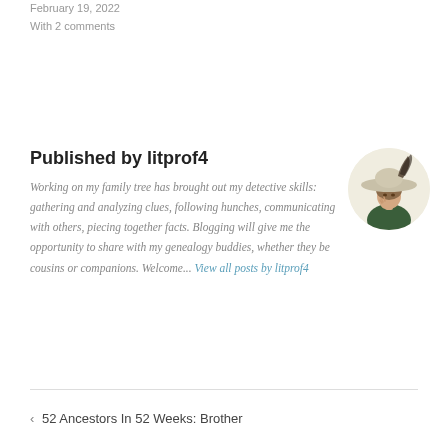February 19, 2022
With 2 comments
Published by litprof4
Working on my family tree has brought out my detective skills: gathering and analyzing clues, following hunches, communicating with others, piecing together facts. Blogging will give me the opportunity to share with my genealogy buddies, whether they be cousins or companions. Welcome... View all posts by litprof4
[Figure (illustration): Circular avatar illustration of a woman in a large decorative hat, holding her chin thoughtfully, wearing a green outfit. Vintage style artwork.]
< 52 Ancestors In 52 Weeks: Brother